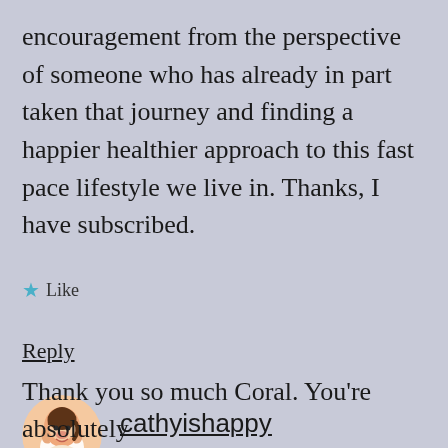encouragement from the perspective of someone who has already in part taken that journey and finding a happier healthier approach to this fast pace lifestyle we live in. Thanks, I have subscribed.
★ Like
Reply
cathyishappy
22nd May 2021 at 9:35 pm
Thank you so much Coral. You're absolutely